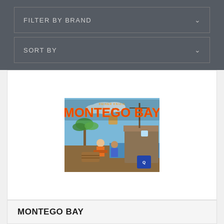FILTER BY BRAND
SORT BY
[Figure (photo): Montego Bay board game box art showing a harbor scene with characters loading cargo onto ships, with the title 'Montego Bay' in large orange letters and a Queen Games logo]
MONTEGO BAY